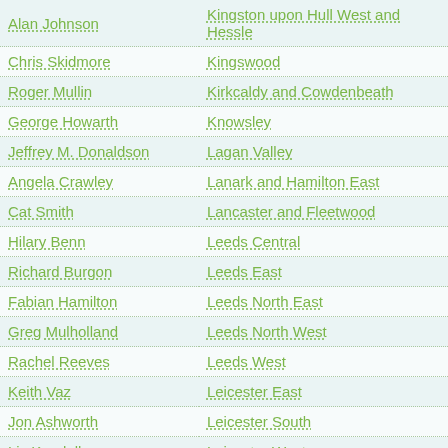| Name | Constituency |
| --- | --- |
| Alan Johnson | Kingston upon Hull West and Hessle |
| Chris Skidmore | Kingswood |
| Roger Mullin | Kirkcaldy and Cowdenbeath |
| George Howarth | Knowsley |
| Jeffrey M. Donaldson | Lagan Valley |
| Angela Crawley | Lanark and Hamilton East |
| Cat Smith | Lancaster and Fleetwood |
| Hilary Benn | Leeds Central |
| Richard Burgon | Leeds East |
| Fabian Hamilton | Leeds North East |
| Greg Mulholland | Leeds North West |
| Rachel Reeves | Leeds West |
| Keith Vaz | Leicester East |
| Jon Ashworth | Leicester South |
| Liz Kendall | Leicester West |
| Andy Burnham | Leigh |
| Maria Caulfield | Lewes |
| Heidi Alexander | Lewisham East |
| Jim Dowd | Lewisham West and Penge |